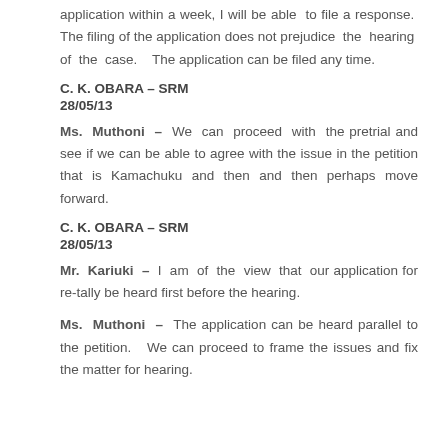application within a week, I will be able to file a response. The filing of the application does not prejudice the hearing of the case. The application can be filed any time.
C. K. OBARA – SRM
28/05/13
Ms. Muthoni – We can proceed with the pretrial and see if we can be able to agree with the issue in the petition that is Kamachuku and then and then perhaps move forward.
C. K. OBARA – SRM
28/05/13
Mr. Kariuki – I am of the view that our application for re-tally be heard first before the hearing.
Ms. Muthoni – The application can be heard parallel to the petition. We can proceed to frame the issues and fix the matter for hearing.